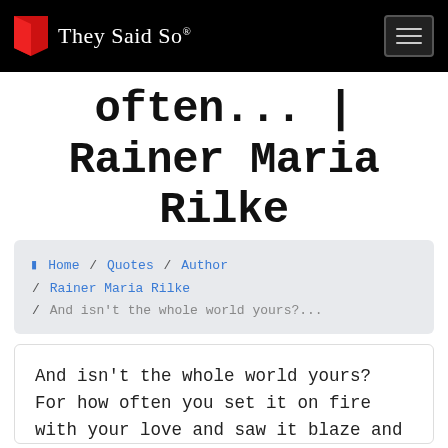They Said So®
often... | Rainer Maria Rilke
Home / Quotes / Author / Rainer Maria Rilke / And isn't the whole world yours?...
And isn't the whole world yours? For how often you set it on fire with your love and saw it blaze and burn up and secretly replaced it with